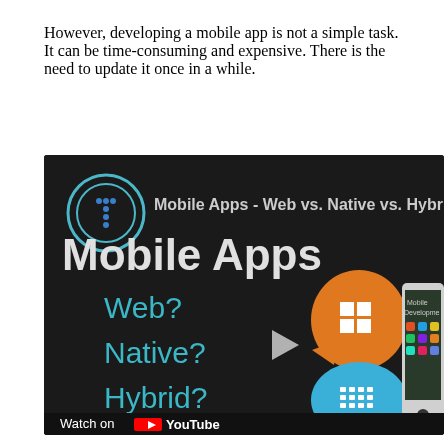However, developing a mobile app is not a simple task. It can be time-consuming and expensive. There is the need to update it once in a while.
[Figure (screenshot): YouTube video thumbnail for 'Mobile Apps - Web vs. Native vs. Hybrid' by TraversyMedia. Dark background with teal text showing 'Mobile Apps', 'Web?', 'Native?', 'Hybrid?', with Windows logo speech bubble in orange, BlackBerry logo in blue speech bubble, a play button, a smartphone showing app icons, and TraversyMedia.com branding. 'Watch on YouTube' button visible at bottom.]